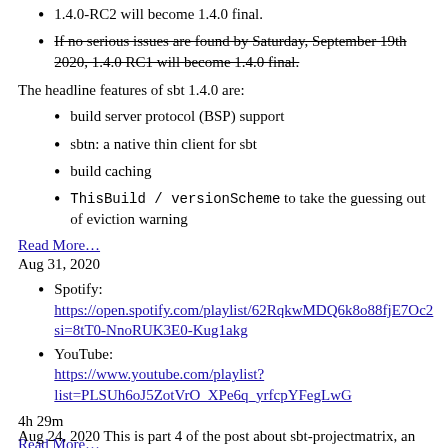1.4.0-RC2 will become 1.4.0 final.
If no serious issues are found by Saturday, September 19th 2020, 1.4.0 RC1 will become 1.4.0 final. [strikethrough]
The headline features of sbt 1.4.0 are:
build server protocol (BSP) support
sbtn: a native thin client for sbt
build caching
ThisBuild / versionScheme to take the guessing out of eviction warning
Read More…
Aug 31, 2020
Spotify: https://open.spotify.com/playlist/62RqkwMDQ6k8o88fjE7Oc2 si=8tT0-NnoRUK3E0-Kug1akg
YouTube: https://www.youtube.com/playlist?list=PLSUh6oJ5ZotVrO_XPe6q_yrfcpYFegLwG
4h 29m
Read More…
Aug 24, 2020 This is part 4 of the post about sbt-projectmatrix, an